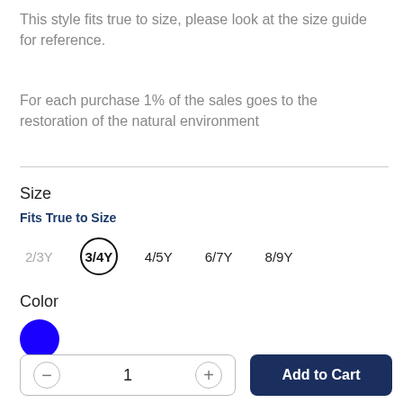This style fits true to size, please look at the size guide for reference.
For each purchase 1% of the sales goes to the restoration of the natural environment
Size
Fits True to Size
2/3Y  3/4Y  4/5Y  6/7Y  8/9Y
Color
[Figure (illustration): Blue filled circle representing color swatch selection]
1
Add to Cart